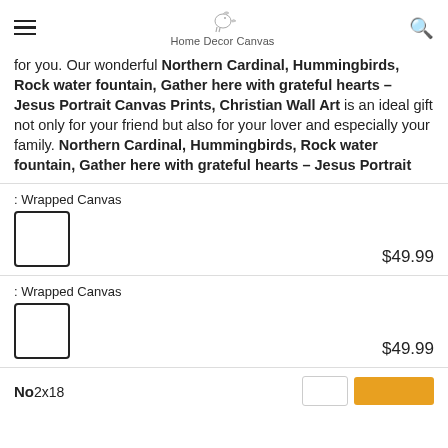Home Decor Canvas
for you. Our wonderful Northern Cardinal, Hummingbirds, Rock water fountain, Gather here with grateful hearts – Jesus Portrait Canvas Prints, Christian Wall Art is an ideal gift not only for your friend but also for your lover and especially your family. Northern Cardinal, Hummingbirds, Rock water fountain, Gather here with grateful hearts – Jesus Portrait
: Wrapped Canvas
[Figure (other): Empty white square canvas thumbnail]
$49.99
: Wrapped Canvas
[Figure (other): Empty white square canvas thumbnail]
$49.99
No 2x18